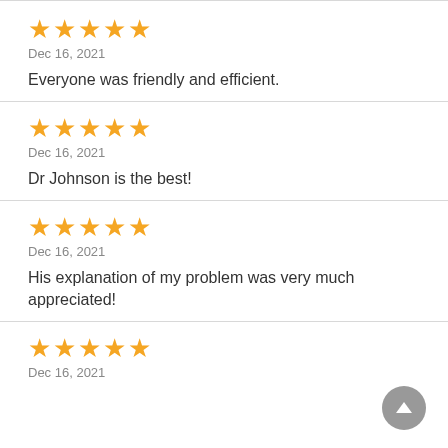[Figure (other): Five orange stars rating]
Dec 16, 2021
Everyone was friendly and efficient.
[Figure (other): Five orange stars rating]
Dec 16, 2021
Dr Johnson is the best!
[Figure (other): Five orange stars rating]
Dec 16, 2021
His explanation of my problem was very much appreciated!
[Figure (other): Five orange stars rating]
Dec 16, 2021